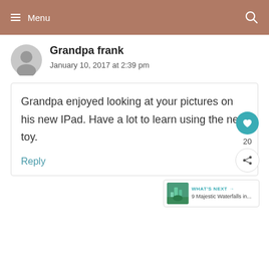Menu
Grandpa frank
January 10, 2017 at 2:39 pm
Grandpa enjoyed looking at your pictures on his new IPad. Have a lot to learn using the new toy.
Reply
WHAT'S NEXT → 9 Majestic Waterfalls in...